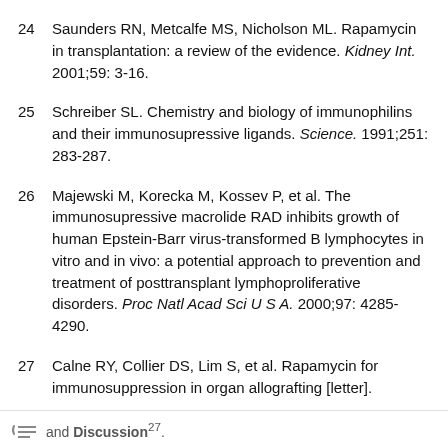24  Saunders RN, Metcalfe MS, Nicholson ML. Rapamycin in transplantation: a review of the evidence. Kidney Int. 2001;59: 3-16.
25  Schreiber SL. Chemistry and biology of immunophilins and their immunosupressive ligands. Science. 1991;251: 283-287.
26  Majewski M, Korecka M, Kossev P, et al. The immunosupressive macrolide RAD inhibits growth of human Epstein-Barr virus-transformed B lymphocytes in vitro and in vivo: a potential approach to prevention and treatment of posttransplant lymphoproliferative disorders. Proc Natl Acad Sci U S A. 2000;97: 4285-4290.
27  Calne RY, Collier DS, Lim S, et al. Rapamycin for immunosuppression in organ allografting [letter]. Lancet. 1989;334: 227.
Discussion